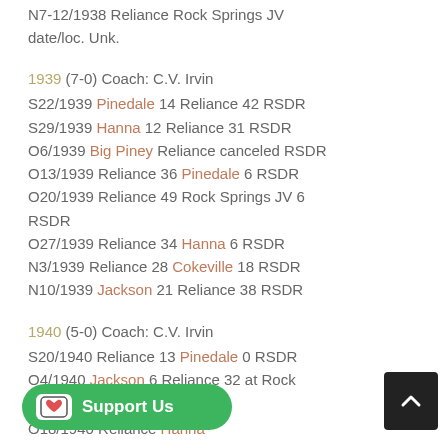N7-12/1938 Reliance Rock Springs JV date/loc. Unk.
1939 (7-0) Coach: C.V. Irvin
S22/1939 Pinedale 14 Reliance 42 RSDR
S29/1939 Hanna 12 Reliance 31 RSDR
O6/1939 Big Piney Reliance canceled RSDR
O13/1939 Reliance 36 Pinedale 6 RSDR
O20/1939 Reliance 49 Rock Springs JV 6 RSDR
O27/1939 Reliance 34 Hanna 6 RSDR
N3/1939 Reliance 28 Cokeville 18 RSDR
N10/1939 Jackson 21 Reliance 38 RSDR
1940 (5-0) Coach: C.V. Irvin
S20/1940 Reliance 13 Pinedale 0 RSDR
O4/1940 Jackson 6 Reliance 32 at Rock
…dale 7 Reliance 55 RSDR
O18/1940 Reliance Hanna